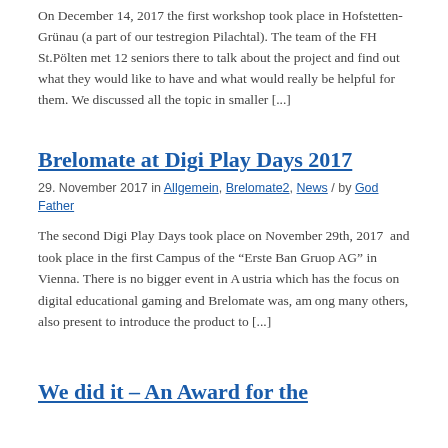On December 14, 2017 the first workshop took place in Hofstetten-Grünau (a part of our testregion Pilachtal). The team of the FH St.Pölten met 12 seniors there to talk about the project and find out what they would like to have and what would really be helpful for them. We discussed all the topic in smaller [...]
Brelomate at Digi Play Days 2017
29. November 2017 in Allgemein, Brelomate2, News / by God Father
The second Digi Play Days took place on November 29th, 2017 and took place in the first Campus of the "Erste Ban Gruop AG" in Vienna. There is no bigger event in Austria which has the focus on digital educational gaming and Brelomate was, among many others, also present to introduce the product to [...]
We did it – An Award for the ...